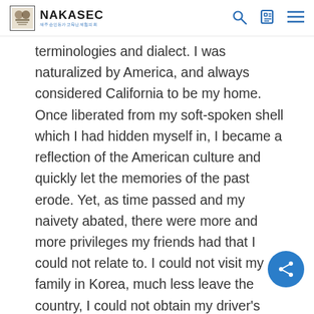NAKASEC
terminologies and dialect. I was naturalized by America, and always considered California to be my home. Once liberated from my soft-spoken shell which I had hidden myself in, I became a reflection of the American culture and quickly let the memories of the past erode. Yet, as time passed and my naivety abated, there were more and more privileges my friends had that I could not relate to. I could not visit my family in Korea, much less leave the country, I could not obtain my driver's license, I could not open a bank account, I could not seek employment, I could not